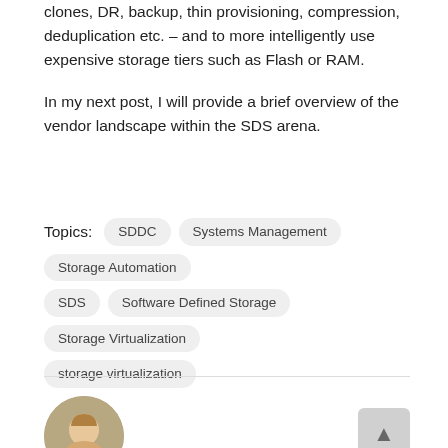clones, DR, backup, thin provisioning, compression, deduplication etc. – and to more intelligently use expensive storage tiers such as Flash or RAM.
In my next post, I will provide a brief overview of the vendor landscape within the SDS arena.
Topics: SDDC  Systems Management  Storage Automation  SDS  Software Defined Storage  Storage Virtualization  storage virtualization
[Figure (photo): Circular avatar photo of a person]